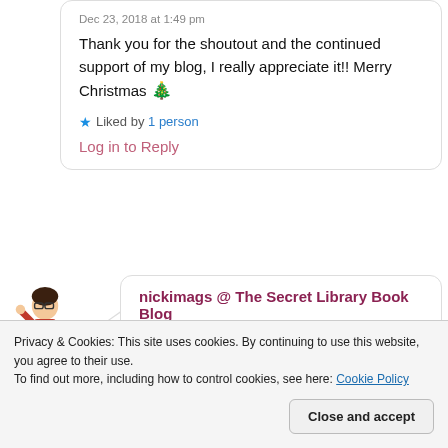Dec 23, 2018 at 1:49 pm
Thank you for the shoutout and the continued support of my blog, I really appreciate it!! Merry Christmas 🎄
Liked by 1 person
Log in to Reply
[Figure (illustration): Avatar/bitmoji illustration of a person with glasses waving]
nickimags @ The Secret Library Book Blog
Dec 23, 2018 at 2:20 pm
Privacy & Cookies: This site uses cookies. By continuing to use this website, you agree to their use.
To find out more, including how to control cookies, see here: Cookie Policy